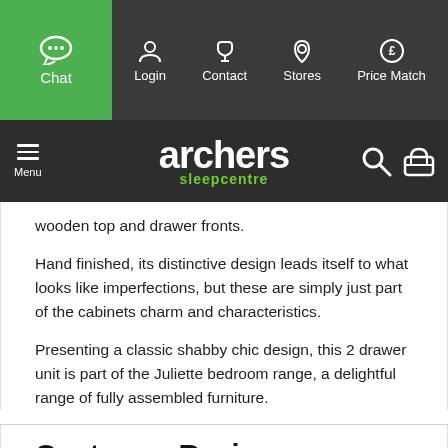[Figure (screenshot): Website navigation bar with Chat (green), Login, Contact, Stores, Price Match icons]
[Figure (logo): Archers Sleepcentre logo with Menu, search and basket icons on dark background]
wooden top and drawer fronts.
Hand finished, its distinctive design leads itself to what looks like imperfections, but these are simply just part of the cabinets charm and characteristics.
Presenting a classic shabby chic design, this 2 drawer unit is part of the Juliette bedroom range, a delightful range of fully assembled furniture.
Customer Reviews
By Michel Lal on 2nd July 2021
"Smart looking bedside drawer sets and